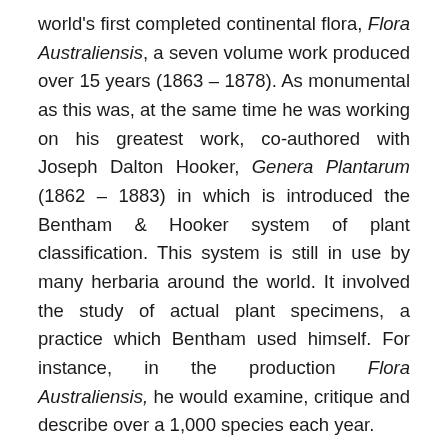world's first completed continental flora, Flora Australiensis, a seven volume work produced over 15 years (1863 – 1878). As monumental as this was, at the same time he was working on his greatest work, co-authored with Joseph Dalton Hooker, Genera Plantarum (1862 – 1883) in which is introduced the Bentham & Hooker system of plant classification. This system is still in use by many herbaria around the world. It involved the study of actual plant specimens, a practice which Bentham used himself. For instance, in the production Flora Australiensis, he would examine, critique and describe over a 1,000 species each year.
This practice harkens back to his early days when in his Flora of the French Pyrenees (1826) he